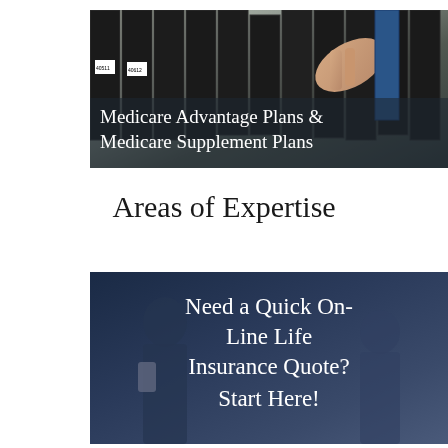[Figure (photo): Photo of filing binders/folders on a shelf with a hand reaching to pull one out. Overlaid text reads: Medicare Advantage Plans & Medicare Supplement Plans]
Areas of Expertise
[Figure (photo): Photo of two people in business attire (dark suits) with overlay text: Need a Quick On-Line Life Insurance Quote? Start Here!]